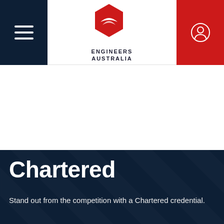Engineers Australia navigation header with hamburger menu, logo, and user login button
[Figure (logo): Engineers Australia logo: red hexagon shape with white curved arc inside, text ENGINEERS AUSTRALIA below in dark navy]
Chartered
Stand out from the competition with a Chartered credential.